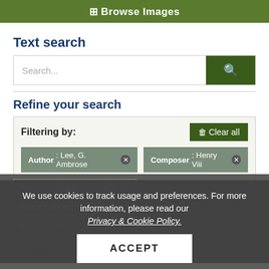[Figure (screenshot): Green navigation bar with 'Browse Images' button]
Text search
[Figure (screenshot): Search input box with placeholder 'Search...' and green search button with magnifying glass icon]
Refine your search
Filtering by:
Author: Lee, G. Ambrose ✕   Composer: Henry Viii ✕
Historical Figure: Camillus ✕
Historical Figure: [obscured]
Historical Figure: Fox, Sir Stephen ✕
Historical Figure: Of[obscured]
Historical Figure: Wren, Sir Christopher ✕
We use cookies to track usage and preferences. For more information, please read our Privacy & Cookie Policy.
ACCEPT